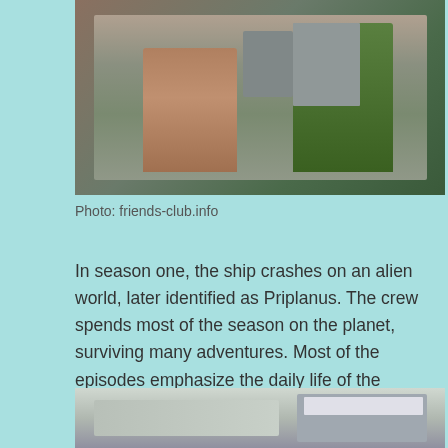[Figure (photo): Two people standing near equipment outdoors, one in a brownish outfit and one in a green uniform or costume.]
Photo: friends-club.info
In season one, the ship crashes on an alien world, later identified as Priplanus. The crew spends most of the season on the planet, surviving many adventures. Most of the episodes emphasize the daily life of the Robinsons adjusting to their new conditions. The show was on Wednesday nights against The Adventures of Ozzie and Harriet and The Patty Duke Show on ABC and The Virginian on NBC.
[Figure (photo): People inside what appears to be a spaceship interior with control panels visible.]